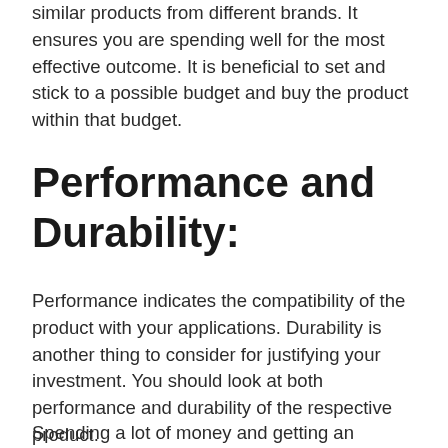similar products from different brands. It ensures you are spending well for the most effective outcome. It is beneficial to set and stick to a possible budget and buy the product within that budget.
Performance and Durability:
Performance indicates the compatibility of the product with your applications. Durability is another thing to consider for justifying your investment. You should look at both performance and durability of the respective product.
Spending a lot of money and getting an ineffective result from the product and...